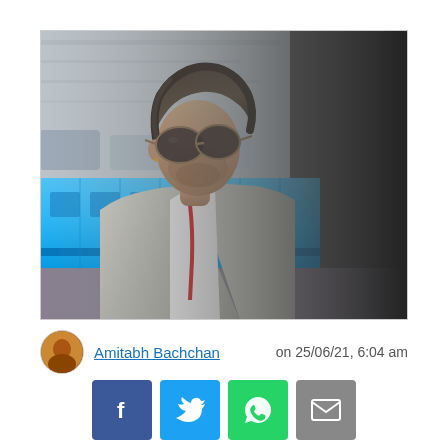[Figure (photo): A man in a grey blazer and white shirt with red lanyard wearing aviator sunglasses, photographed outdoors with a blue train/bus and buildings in the background. The photo is a movie still or celebrity photo.]
Amitabh Bachchan    on 25/06/21, 6:04 am
[Figure (infographic): Four social share buttons: Facebook (blue), Twitter (light blue), WhatsApp (green), Email (grey)]